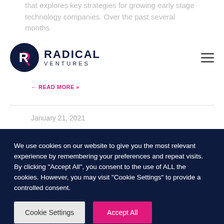that explores key strategies for growing early stage technology companies. Over the past several months
[Figure (logo): Radical Ventures logo — dark navy circle with pink R letter, followed by RADICAL VENTURES text]
READ MORE »
January 21, 2021
[Figure (photo): Blurred photo showing balloons and curtains with warm golden and grey tones]
We use cookies on our website to give you the most relevant experience by remembering your preferences and repeat visits. By clicking "Accept All", you consent to the use of ALL the cookies. However, you may visit "Cookie Settings" to provide a controlled consent.